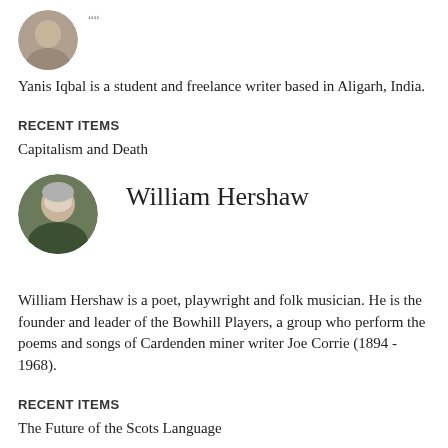[Figure (photo): Small circular avatar photo of Yanis Iqbal, partially visible at top of page]
Yanis Iqbal is a student and freelance writer based in Aligarh, India.
RECENT ITEMS
Capitalism and Death
[Figure (photo): Circular avatar photo of William Hershaw, an older man with grey hair outdoors]
William Hershaw
William Hershaw is a poet, playwright and folk musician. He is the founder and leader of the Bowhill Players, a group who perform the poems and songs of Cardenden miner writer Joe Corrie (1894 - 1968).
RECENT ITEMS
The Future of the Scots Language
[Figure (photo): Circular avatar photo of Charlie Clutterbuck, partially visible at bottom of page]
Charlie Clutterbuck